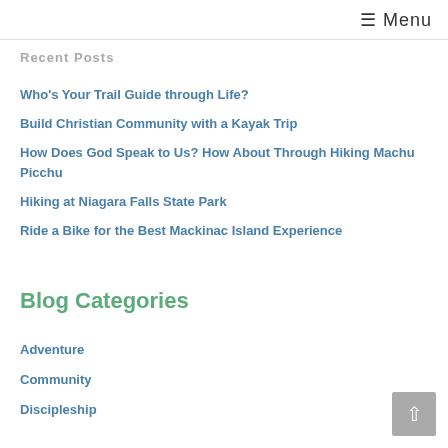≡ Menu
Recent Posts
Who's Your Trail Guide through Life?
Build Christian Community with a Kayak Trip
How Does God Speak to Us? How About Through Hiking Machu Picchu
Hiking at Niagara Falls State Park
Ride a Bike for the Best Mackinac Island Experience
Blog Categories
Adventure
Community
Discipleship